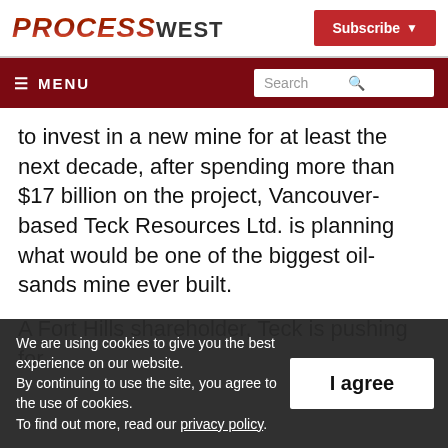PROCESS WEST
to invest in a new mine for at least the next decade, after spending more than $17 billion on the project, Vancouver-based Teck Resources Ltd. is planning what would be one of the biggest oil-sands mine ever built.
A Fort Hills shareholder, Teck is pushing for
We are using cookies to give you the best experience on our website. By continuing to use the site, you agree to the use of cookies. To find out more, read our privacy policy.